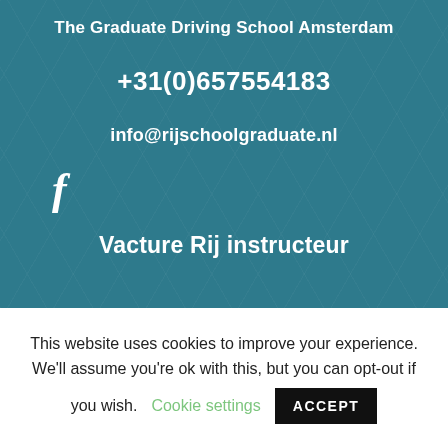The Graduate Driving School Amsterdam
+31(0)657554183
info@rijschoolgraduate.nl
[Figure (logo): Facebook 'f' icon in white]
Vacture Rij instructeur
This website uses cookies to improve your experience. We'll assume you're ok with this, but you can opt-out if you wish. Cookie settings ACCEPT